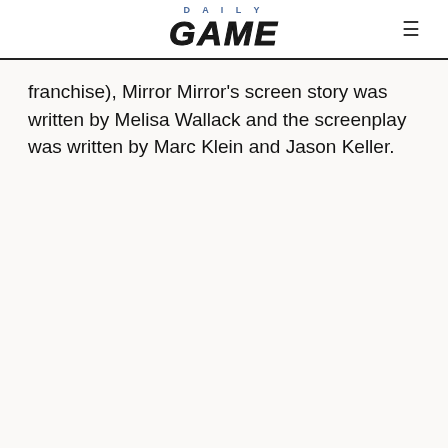DAILY GAME
franchise), Mirror Mirror's screen story was written by Melisa Wallack and the screenplay was written by Marc Klein and Jason Keller.